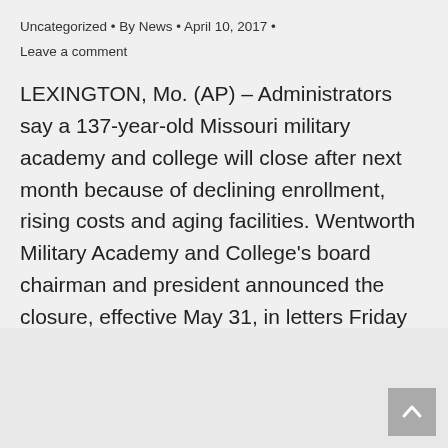Uncategorized • By News • April 10, 2017 •
Leave a comment
LEXINGTON, Mo. (AP) – Administrators say a 137-year-old Missouri military academy and college will close after next month because of declining enrollment, rising costs and aging facilities. Wentworth Military Academy and College's board chairman and president announced the closure, effective May 31, in letters Friday to cadets, students, parents and alumni. The letter to alumni…